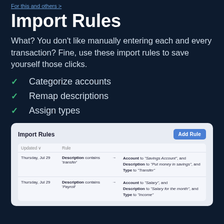For this and others >
Import Rules
What? You don't like manually entering each and every transaction? Fine, use these import rules to save yourself those clicks.
Categorize accounts
Remap descriptions
Assign types
[Figure (screenshot): Screenshot of an Import Rules UI panel showing a table with columns 'Updated' and 'Rule', an 'Add Rule' button, and two rows: (1) Thursday, Jul 29 — Description contains 'transfer' → Account to 'Savings Account', Description to 'Put money in savings', Type to 'Transfer'; (2) Thursday, Jul 29 — Description contains 'Payroll' → Account to 'Salary', Description to 'Salary for the month', Type to 'Income'.]